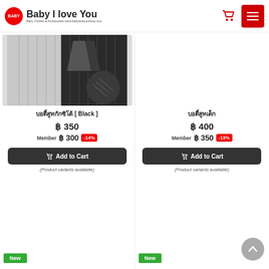[Figure (logo): Baby I Love You logo with red circle BABY icon and text]
บอดี้สูทกักซิโด้ [ Black ]
฿ 350
Member ฿ 300 -14%
Add to Cart
(Product variants available)
บอดี้สูทเด็ก
฿ 400
Member ฿ 350 -13%
Add to Cart
(Product variants available)
New
New